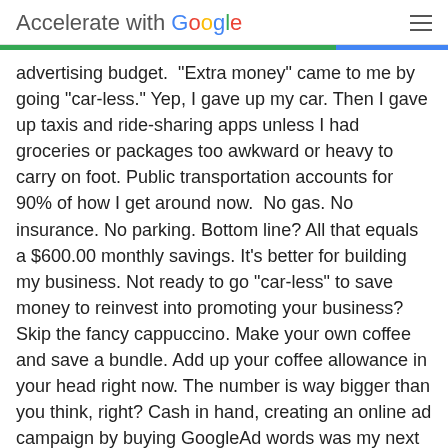Accelerate with Google
advertising budget. “Extra money” came to me by going “car-less.” Yep, I gave up my car. Then I gave up taxis and ride-sharing apps unless I had groceries or packages too awkward or heavy to carry on foot. Public transportation accounts for 90% of how I get around now. No gas. No insurance. No parking. Bottom line? All that equals a $600.00 monthly savings. It’s better for building my business. Not ready to go “car-less” to save money to reinvest into promoting your business? Skip the fancy cappuccino. Make your own coffee and save a bundle. Add up your coffee allowance in your head right now. The number is way bigger than you think, right? Cash in hand, creating an online ad campaign by buying GoogleAd words was my next step. What are Google AdWords? You know the results that pop-up on your screen when you type a question in the search bar? Those are AdWords. Anyone can buy AdWords. Every